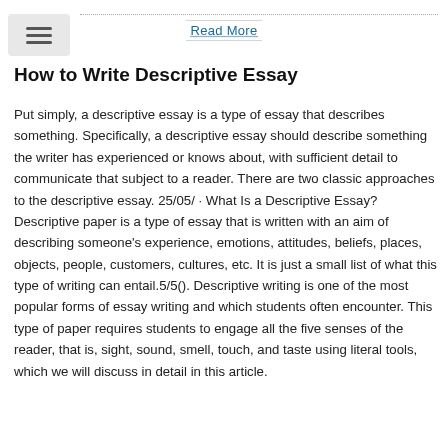Read More
How to Write Descriptive Essay
Put simply, a descriptive essay is a type of essay that describes something. Specifically, a descriptive essay should describe something the writer has experienced or knows about, with sufficient detail to communicate that subject to a reader. There are two classic approaches to the descriptive essay. 25/05/ · What Is a Descriptive Essay? Descriptive paper is a type of essay that is written with an aim of describing someone's experience, emotions, attitudes, beliefs, places, objects, people, customers, cultures, etc. It is just a small list of what this type of writing can entail.5/5(). Descriptive writing is one of the most popular forms of essay writing and which students often encounter. This type of paper requires students to engage all the five senses of the reader, that is, sight, sound, smell, touch, and taste using literal tools, which we will discuss in detail in this article.